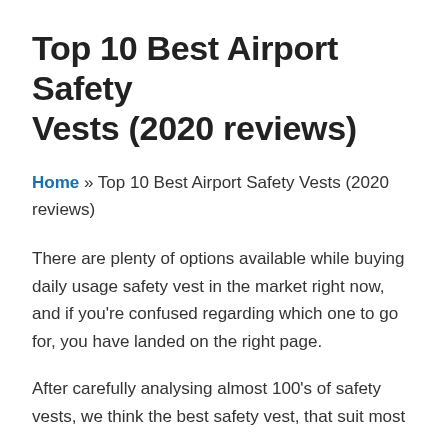Top 10 Best Airport Safety Vests (2020 reviews)
Home » Top 10 Best Airport Safety Vests (2020 reviews)
There are plenty of options available while buying daily usage safety vest in the market right now, and if you're confused regarding which one to go for, you have landed on the right page.
After carefully analysing almost 100's of safety vests, we think the best safety vest, that suit most people, is the one first on the below. S…